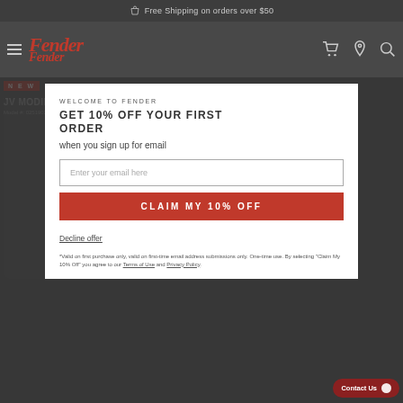Free Shipping on orders over $50
[Figure (screenshot): Fender website navigation bar with logo, hamburger menu, cart, location, and search icons]
WELCOME TO FENDER
GET 10% OFF YOUR FIRST ORDER
JV MODIFIED '50S TELECASTER®
Model #: 0251902303
when you sign up for email
Enter your email here
CLAIM MY 10% OFF
Decline offer
*Valid on first purchase only, valid on first-time email address submissions only. One-time use. By selecting "Claim My 10% Off" you agree to our Terms of Use and Privacy Policy.